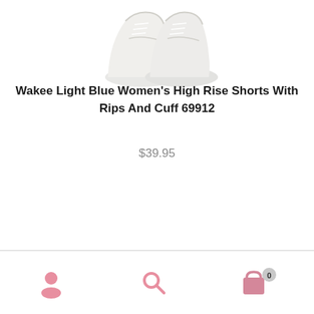[Figure (photo): Partial view of white sneakers/shoes from above, cropped at the top of the page]
Wakee Light Blue Women’s High Rise Shorts With Rips And Cuff 69912
$39.95
[Figure (infographic): Bottom navigation bar with three icons: user/account icon (pink), search icon (pink), and shopping bag icon (pink) with a badge showing 0]